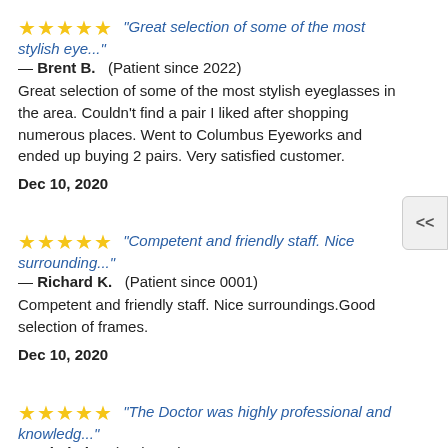★★★★★  "Great selection of some of the most stylish eye..." — Brent B.  (Patient since 2022)
Great selection of some of the most stylish eyeglasses in the area. Couldn't find a pair I liked after shopping numerous places. Went to Columbus Eyeworks and ended up buying 2 pairs. Very satisfied customer.
Dec 10, 2020
★★★★★  "Competent and friendly staff. Nice surrounding..." — Richard K.  (Patient since 0001)
Competent and friendly staff. Nice surroundings.Good selection of frames.
Dec 10, 2020
★★★★★  "The Doctor was highly professional and knowledg..." — Mitchel I.  (Patient since